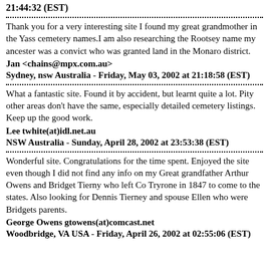21:44:32 (EST)
Thank you for a very interesting site I found my great grandmother in the Yass cemetery names.I am also researching the Rootsey name my ancester was a convict who was granted land in the Monaro district.
Jan <chains@mpx.com.au>
Sydney, nsw Australia - Friday, May 03, 2002 at 21:18:58 (EST)
What a fantastic site. Found it by accident, but learnt quite a lot. Pity other areas don't have the same, especially detailed cemetery listings. Keep up the good work.
Lee twhite(at)idl.net.au
NSW Australia - Sunday, April 28, 2002 at 23:53:38 (EST)
Wonderful site. Congratulations for the time spent. Enjoyed the site even though I did not find any info on my Great grandfather Arthur Owens and Bridget Tierny who left Co Tryrone in 1847 to come to the states. Also looking for Dennis Tierney and spouse Ellen who were Bridgets parents.
George Owens gtowens(at)comcast.net
Woodbridge, VA USA - Friday, April 26, 2002 at 02:55:06 (EST)